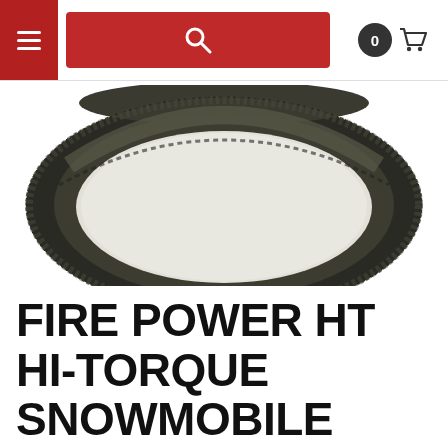[Figure (screenshot): E-commerce website navigation bar with hamburger menu button (dark red), red search bar with magnifying glass icon, and cart icon with badge showing 0]
[Figure (photo): Fire Power HT Hi-Torque snowmobile CVT drive belt shown as a circular loop, dark gray/black rubber with toothed inner surface, photographed on white background]
FIRE POWER HT HI-TORQUE SNOWMOBILE